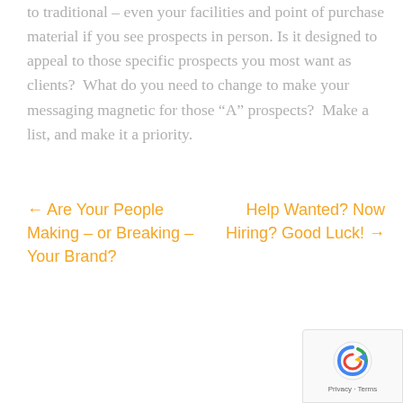to traditional – even your facilities and point of purchase material if you see prospects in person. Is it designed to appeal to those specific prospects you most want as clients?  What do you need to change to make your messaging magnetic for those “A” prospects?  Make a list, and make it a priority.
← Are Your People Making – or Breaking – Your Brand?
Help Wanted? Now Hiring? Good Luck! →
[Figure (other): reCAPTCHA privacy badge in bottom right corner showing the reCAPTCHA logo and Privacy · Terms text]